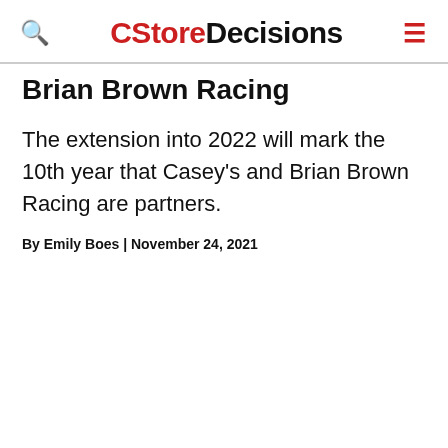CStoreDecisions
Brian Brown Racing
The extension into 2022 will mark the 10th year that Casey's and Brian Brown Racing are partners.
By Emily Boes | November 24, 2021